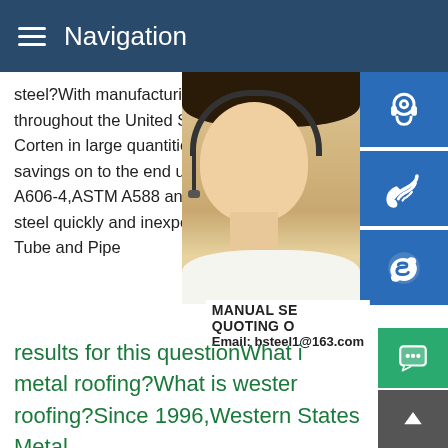Navigation
steel?With manufacturing and storage facilities throughout the United States,our company Corten in large quantities at a discount and savings on to the end user.We inventory large A606-4,ASTM A588 and ASTM A847 steel steel quickly and inexpensively.Corten Flat Sheets Corten Coil Tube and Pipe
[Figure (photo): Woman with headset smiling, customer service representative photo]
MANUAL SE... QUOTING O... Email: bsteel1@163.com
results for this questionWhat is metal roofing?What is western roofing?Since 1996,Western States Metal Roofing has been the leading provider of weathering steel products.We offer the largest selection of Corten structural components and Corten metal roofing products designed to meet or exceed your building requirement needs.Corten Flat Sheets Corten Coil Tube